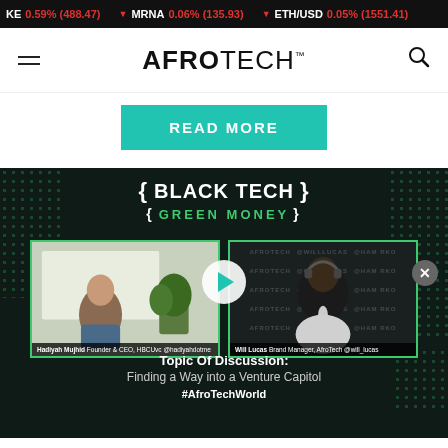KE 0.59% (488.47) | ▼ MRNA 0.06% (135.93) | ▼ ETH/USD 0.05% (1551.41)
AFROTECH™
READ MORE
[Figure (screenshot): Black Tech Green Money podcast video thumbnail showing two participants: Hadiyah Mujhid (Founder & CEO, HBCUvc @hadiyahdotme) on the left and Will Lucas (Brand Manager, AfroTech @will_lucas) on the right. Topic Of Discussion: Finding a Way into a Venture Capitol. #AfroTechWorld]
Topic Of Discussion: Finding a Way into a Venture Capitol
#AfroTechWorld